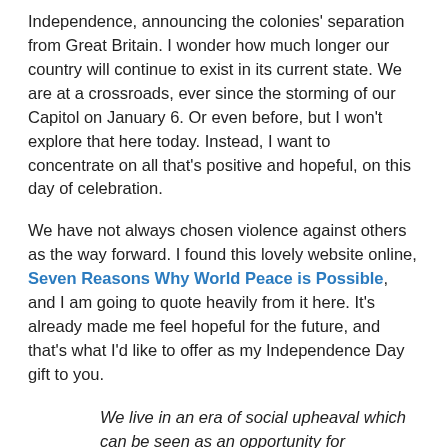Independence, announcing the colonies' separation from Great Britain. I wonder how much longer our country will continue to exist in its current state. We are at a crossroads, ever since the storming of our Capitol on January 6. Or even before, but I won't explore that here today. Instead, I want to concentrate on all that's positive and hopeful, on this day of celebration.
We have not always chosen violence against others as the way forward. I found this lovely website online, Seven Reasons Why World Peace is Possible, and I am going to quote heavily from it here. It's already made me feel hopeful for the future, and that's what I'd like to offer as my Independence Day gift to you.
We live in an era of social upheaval which can be seen as an opportunity for transformative change, according to Riane Eisler from the Centre for Partnership Studies, toward the kinds of cultures that support a more equitable, caring, and sustainable way of life. Eisler developed this theory of Cultural Transformation after years of